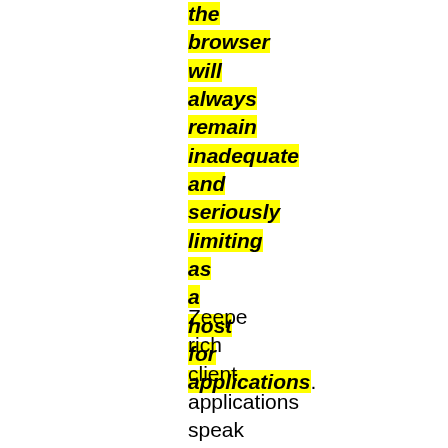the browser will always remain inadequate and seriously limiting as a host for applications.
Zeepе rich client applications speak the language of